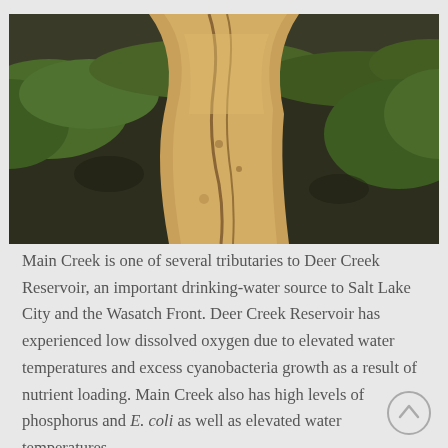[Figure (photo): Aerial or close-up photograph of an eroded streambank or dry cracked earth channel with green grass/vegetation on the edges and sandy/brown soil exposed in the middle, likely showing stream bank erosion.]
Main Creek is one of several tributaries to Deer Creek Reservoir, an important drinking-water source to Salt Lake City and the Wasatch Front. Deer Creek Reservoir has experienced low dissolved oxygen due to elevated water temperatures and excess cyanobacteria growth as a result of nutrient loading. Main Creek also has high levels of phosphorus and E. coli as well as elevated water temperatures.
In March 2007, the Wasatch Conservation District, along with local stakeholders, met to